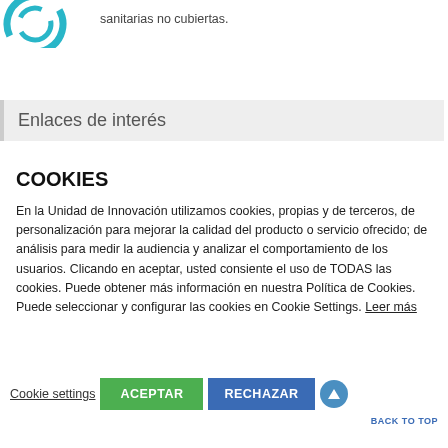[Figure (logo): Circular logo with blue/cyan colors, partially visible at top-left]
sanitarias no cubiertas.
Enlaces de interés
COOKIES
En la Unidad de Innovación utilizamos cookies, propias y de terceros, de personalización para mejorar la calidad del producto o servicio ofrecido; de análisis para medir la audiencia y analizar el comportamiento de los usuarios. Clicando en aceptar, usted consiente el uso de TODAS las cookies. Puede obtener más información en nuestra Política de Cookies. Puede seleccionar y configurar las cookies en Cookie Settings. Leer más
Cookie settings  ACEPTAR  RECHAZAR  BACK TO TOP